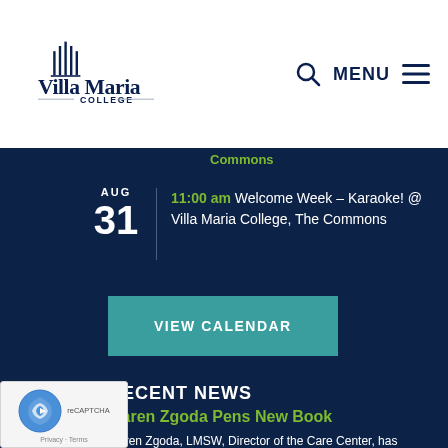[Figure (logo): Villa Maria College logo with building icon and text]
MENU
Commons
AUG 31 | 11:00 am Welcome Week – Karaoke! @ Villa Maria College, The Commons
VIEW CALENDAR
RECENT NEWS
Karen Zgoda Pens New Book
Karen Zgoda, LMSW, Director of the Care Center, has authored a new book. Entitled Active Learning Lessons, Activities, and Assignments for the ...
Read More »